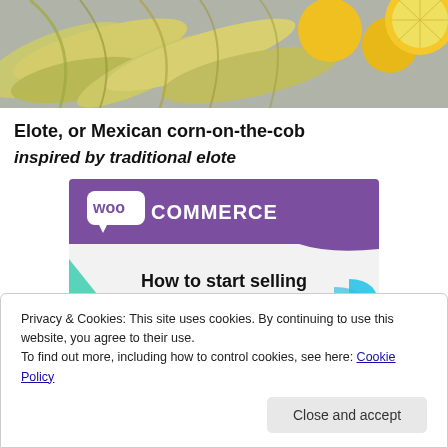[Figure (photo): Top portion of a photo showing corn husks and yellow citrus fruits on a gray surface]
Elote, or Mexican corn-on-the-cob
inspired by traditional elote
[Figure (screenshot): WooCommerce banner ad with purple header and text 'How to start selling subscriptions online']
Privacy & Cookies: This site uses cookies. By continuing to use this website, you agree to their use.
To find out more, including how to control cookies, see here: Cookie Policy
Close and accept